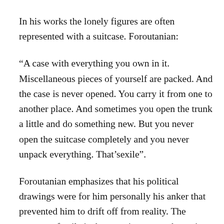In his works the lonely figures are often represented with a suitcase. Foroutanian:
“A case with everything you own in it. Miscellaneous pieces of yourself are packed. And the case is never opened. You carry it from one to another place. And sometimes you open the trunk a little and do something new. But you never open the suitcase completely and you never unpack everything. That’sexile”.
Foroutanian emphasizes that his political drawings were for him personally his anker that prevented him to drift off from reality. The concept of exile is the most important theme in Foroutanian’s work, in his paintings, drawings, but also in his theatre work, like Babel (2007) or  No-one’s Land (Niemandsland, 2010). In all his expressions  the lonely figure is not far away, just  accompanied with his closed suitcase and often long shadow.